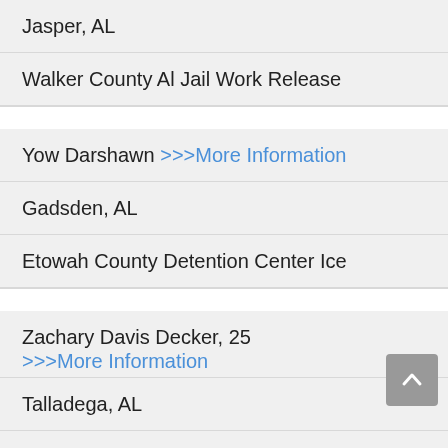Jasper, AL
Walker County Al Jail Work Release
Yow Darshawn >>>More Information
Gadsden, AL
Etowah County Detention Center Ice
Zachary Davis Decker, 25 >>>More Information
Talladega, AL
Talladega County Al Jail